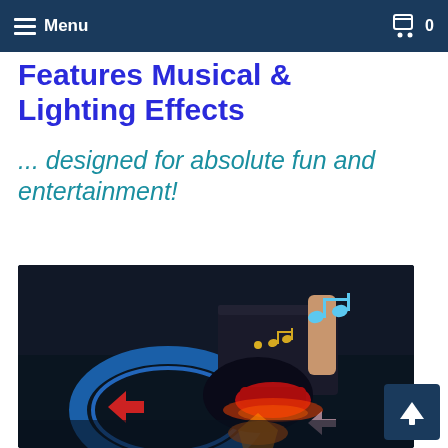Menu | 0
Features Musical & Lighting Effects
... designed for absolute fun and entertainment!
[Figure (photo): A toy car race track set in a dark environment with neon lighting effects. Musical notes float above the track suggesting sound effects. A toy car with red and orange glow is visible inside a loop structure.]